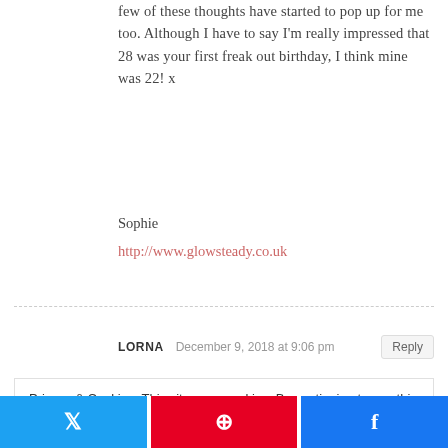few of these thoughts have started to pop up for me too. Although I have to say I'm really impressed that 28 was your first freak out birthday, I think mine was 22! x
Sophie
http://www.glowsteady.co.uk
LORNA   December 9, 2018 at 9:06 pm
Privacy & Cookies: This site uses cookies. By continuing to use this website, you agree to their use.
To find out more, including how to control cookies, see here: Cookie Policy